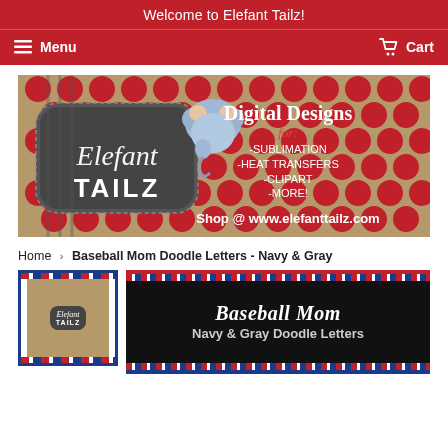Welcome to Elefant Tailz!
Menu   Cart
[Figure (illustration): Elefant Tailz store banner with elephant mascot, red polka dot background, text: Digital Designs for: -SUBLIMATION -HEAT TRANSFERS -CLIPART -MORE! Shop @ www.elefanttailz.com]
Home › Baseball Mom Doodle Letters - Navy & Gray
[Figure (illustration): Product listing image showing Elefant Tailz thumbnail on left with navy/red border, and main product image on right with black background reading 'Baseball Mom Navy & Gray Doodle Letters']